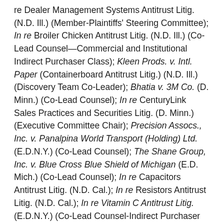re Dealer Management Systems Antitrust Litig. (N.D. Ill.) (Member-Plaintiffs' Steering Committee); In re Broiler Chicken Antitrust Litig. (N.D. Ill.) (Co-Lead Counsel—Commercial and Institutional Indirect Purchaser Class); Kleen Prods. v. Intl. Paper (Containerboard Antitrust Litig.) (N.D. Ill.) (Discovery Team Co-Leader); Bhatia v. 3M Co. (D. Minn.) (Co-Lead Counsel); In re CenturyLink Sales Practices and Securities Litig. (D. Minn.) (Executive Committee Chair); Precision Assocs., Inc. v. Panalpina World Transport (Holding) Ltd. (E.D.N.Y.) (Co-Lead Counsel); The Shane Group, Inc. v. Blue Cross Blue Shield of Michigan (E.D. Mich.) (Co-Lead Counsel); In re Capacitors Antitrust Litig. (N.D. Cal.); In re Resistors Antitrust Litig. (N.D. Cal.); In re Vitamin C Antitrust Litig. (E.D.N.Y.) (Co-Lead Counsel-Indirect Purchaser Classes); In re Blue Cross Blue Shield Antitrust Litig. (N.D. Ala.) (Member-Damages Committee); In re Packaged Seafood Antitrust Litig. (S.D. Cal.); In re DRAM Antitrust Litig. (Co-Lead Counsel–multiple federal and state court indirect